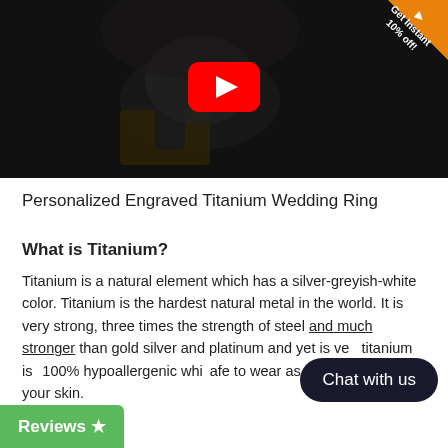[Figure (screenshot): YouTube video thumbnail showing a titanium ring being engraved/worked on with tools, dark background, red YouTube play button in center]
Personalized Engraved Titanium Wedding Ring
What is Titanium?
Titanium is a natural element which has a silver-greyish-white color. Titanium is the hardest natural metal in the world. It is very strong, three times the strength of steel and much stronger than gold silver and platinum and yet is very lightweight. Also titanium is also 100% hypoallergenic which means it is safe to wear as it will not react to your skin.